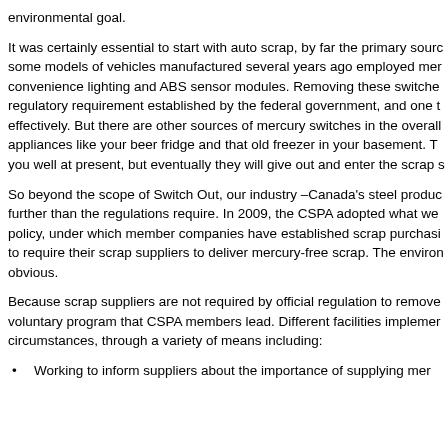environmental goal.
It was certainly essential to start with auto scrap, by far the primary source some models of vehicles manufactured several years ago employed mer convenience lighting and ABS sensor modules. Removing these switche regulatory requirement established by the federal government, and one t effectively. But there are other sources of mercury switches in the overall appliances like your beer fridge and that old freezer in your basement. T you well at present, but eventually they will give out and enter the scrap s
So beyond the scope of Switch Out, our industry –Canada's steel produc further than the regulations require. In 2009, the CSPA adopted what we policy, under which member companies have established scrap purchasi to require their scrap suppliers to deliver mercury-free scrap. The environ obvious.
Because scrap suppliers are not required by official regulation to remove voluntary program that CSPA members lead. Different facilities implemer circumstances, through a variety of means including:
Working to inform suppliers about the importance of supplying mer